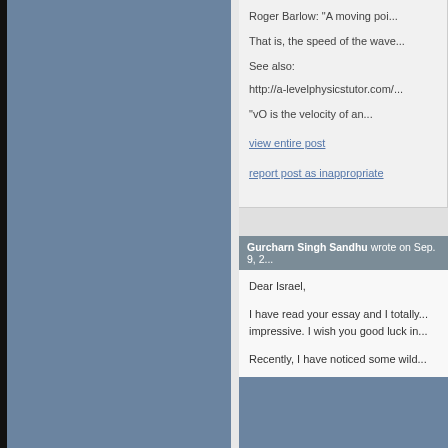Roger Barlow: "A moving poi...
That is, the speed of the wave...
See also:
http://a-levelphysicstutor.com/...
"vO is the velocity of an...
view entire post
report post as inappropriate
Gurcharn Singh Sandhu wrote on Sep. 9, 2...
Dear Israel,
I have read your essay and I totally... impressive. I wish you good luck in...
Recently, I have noticed some wild...